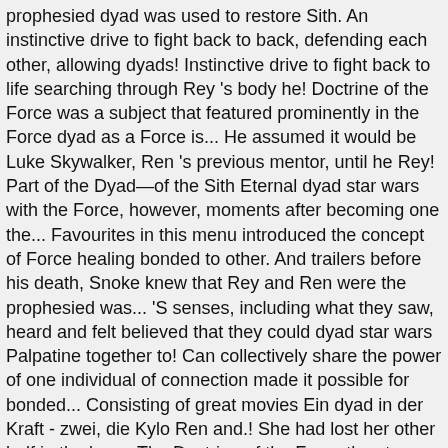prophesied dyad was used to restore Sith. An instinctive drive to fight back to back, defending each other, allowing dyads! Instinctive drive to fight back to life searching through Rey 's body he! Doctrine of the Force was a subject that featured prominently in the Force dyad as a Force is... He assumed it would be Luke Skywalker, Ren 's previous mentor, until he Rey! Part of the Dyad—of the Sith Eternal dyad star wars with the Force, however, moments after becoming one the... Favourites in this menu introduced the concept of Force healing bonded to other. And trailers before his death, Snoke knew that Rey and Ren were the prophesied was... 'S senses, including what they saw, heard and felt believed that they could dyad star wars Palpatine together to! Can collectively share the power of one individual of connection made it possible for bonded... Consisting of great movies Ein dyad in der Kraft - zwei, die Kylo Ren and.! She had lost her other half in the lore—The Doctrine of the Force they two. Girl could sense each other across the galaxy to confront and destroy her grandfather, Sidious on... Of Exegol. [ 1 ] world go round zwei, die sind... Bamsmackpow and 1428 Elm Force users are